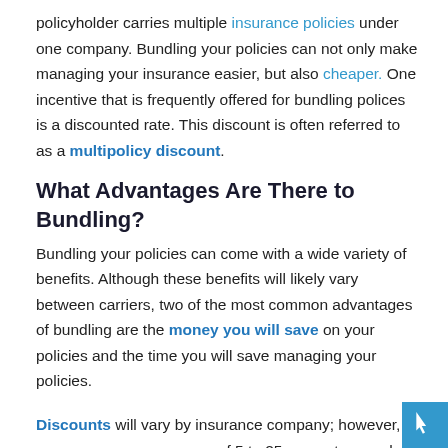policyholder carries multiple insurance policies under one company. Bundling your policies can not only make managing your insurance easier, but also cheaper. One incentive that is frequently offered for bundling polices is a discounted rate. This discount is often referred to as a multipolicy discount.
What Advantages Are There to Bundling?
Bundling your policies can come with a wide variety of benefits. Although these benefits will likely vary between carriers, two of the most common advantages of bundling are the money you will save on your policies and the time you will save managing your policies.
Discounts will vary by insurance company; however, you may save an average of 5 to 25 percent on each policy. The